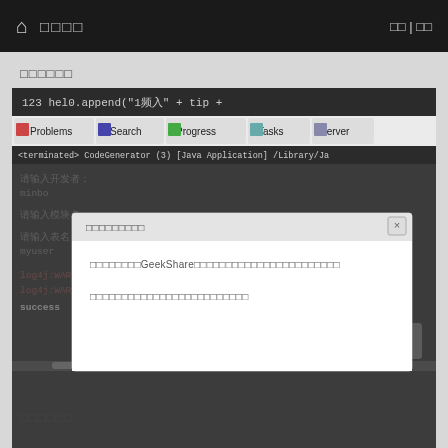🏠 □□□□ | □□ | □□
□□□□□□
[Figure (screenshot): Eclipse IDE screenshot showing a Java code editor with console output, overlaid by a dialog box. The dialog title reads '□□□□□□□□□' with a close button. The dialog body contains two lines of Chinese text mentioning 'GeekShare'. The IDE console shows terminated CodeGenerator Java Application, log4j WARN messages in red, and 'success' in bold. Background shows code editor with Chinese text and code.]
□□□□□□